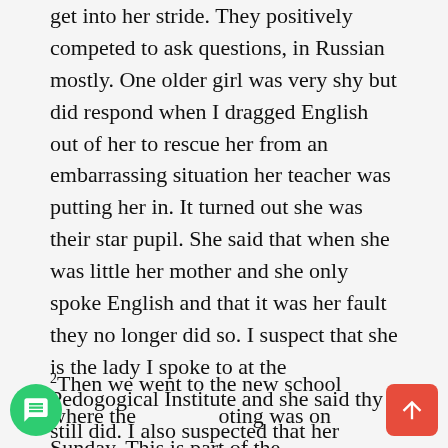get into her stride. They positively competed to ask questions, in Russian mostly. One older girl was very shy but did respond when I dragged English out of her to rescue her from an embarrassing situation her teacher was putting her in. It turned out she was their star pupil. She said that when she was little her mother and she only spoke English and that it was her fault they no longer did so. I suspect that she is the lady I spoke to at the Pedogogical Institute and she said thy still did. I also suspected that her mother could be responsible for her shyness as she probably pushed her ro speak English with any available English speaker. It seems the daughter is the more truthful.
2 Then we went to the new school where the oting was on Sunday. This is part of the same complex and with the same director, but receives